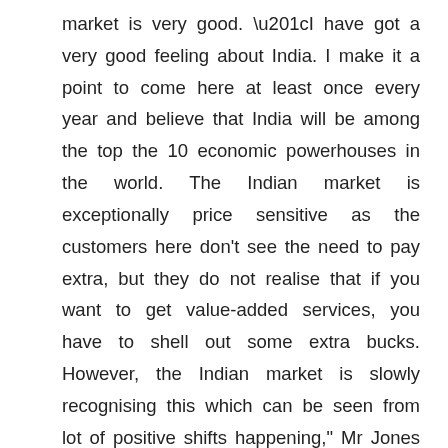market is very good. “I have got a very good feeling about India. I make it a point to come here at least once every year and believe that India will be among the top the 10 economic powerhouses in the world. The Indian market is exceptionally price sensitive as the customers here don’t see the need to pay extra, but they do not realise that if you want to get value-added services, you have to shell out some extra bucks. However, the Indian market is slowly recognising this which can be seen from lot of positive shifts happening,” Mr Jones concluded.